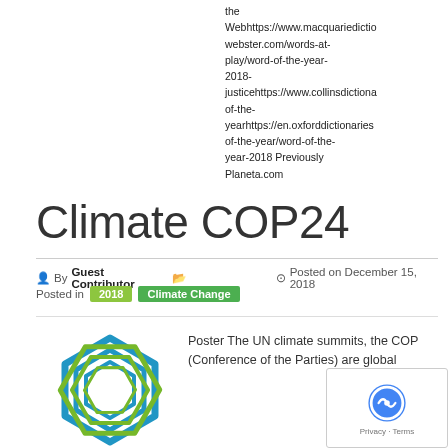the Webhttps://www.macquariedictionary... webster.com/words-at-play/word-of-the-year-2018-justicehttps://www.collinsdictionary...of-the-yearhttps://en.oxforddictionaries...of-the-year/word-of-the-year-2018 Previously Planeta.com
Climate COP24
By Guest Contributor   Posted on December 15, 2018
Posted in 2018  Climate Change
Poster The UN climate summits, the COP (Conference of the Parties) are global summits which…
[Figure (logo): COP24 hexagonal logo with blue and green concentric hexagon shapes]